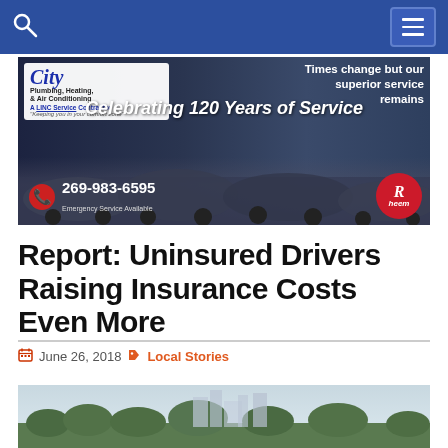Navigation bar with search icon and menu button
[Figure (photo): City Plumbing, Heating & Air Conditioning advertisement banner. Text reads: 'Times change but our superior service remains. Celebrating 120 Years of Service. 269-983-6595. Emergency Service Available.' Features Rheem logo and vintage cars photo.]
Report: Uninsured Drivers Raising Insurance Costs Even More
June 26, 2018  Local Stories
[Figure (photo): City skyline photograph, partially visible at bottom of page.]